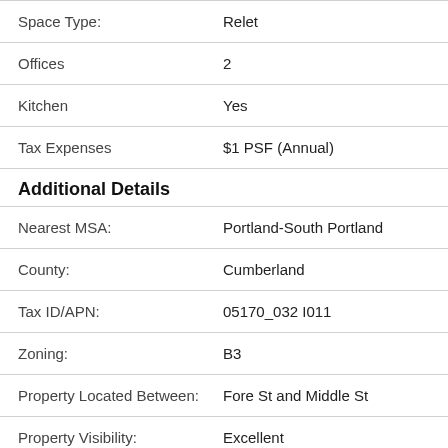| Field | Value |
| --- | --- |
| Space Type: | Relet |
| Offices | 2 |
| Kitchen | Yes |
| Tax Expenses | $1 PSF (Annual) |
Additional Details
| Field | Value |
| --- | --- |
| Nearest MSA: | Portland-South Portland |
| County: | Cumberland |
| Tax ID/APN: | 05170_032 I011 |
| Zoning: | B3 |
| Property Located Between: | Fore St and Middle St |
| Property Visibility: | Excellent |